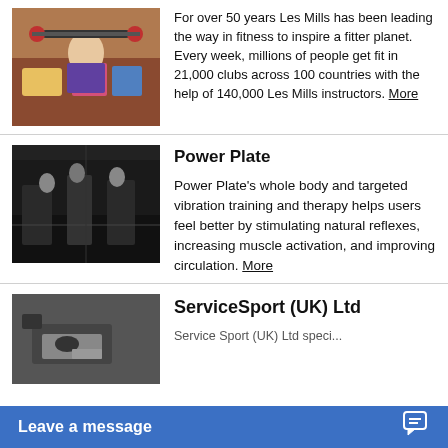[Figure (photo): Woman lifting barbell weights in a gym setting with colorful pillows in background]
For over 50 years Les Mills has been leading the way in fitness to inspire a fitter planet. Every week, millions of people get fit in 21,000 clubs across 100 countries with the help of 140,000 Les Mills instructors. More
[Figure (photo): People working out in a gym with Power Plate equipment, dark industrial setting]
Power Plate
Power Plate's whole body and targeted vibration training and therapy helps users feel better by stimulating natural reflexes, increasing muscle activation, and improving circulation. More
[Figure (photo): Technician working on fitness equipment, ServiceSport UK Ltd]
ServiceSport (UK) Ltd
Leave a message